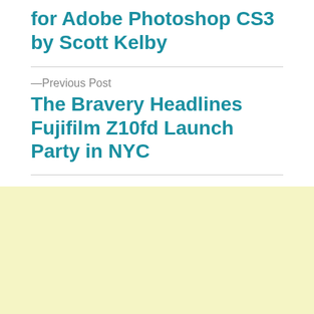for Adobe Photoshop CS3 by Scott Kelby
—Previous Post
The Bravery Headlines Fujifilm Z10fd Launch Party in NYC
[Figure (other): Light yellow background block at the bottom of the page]